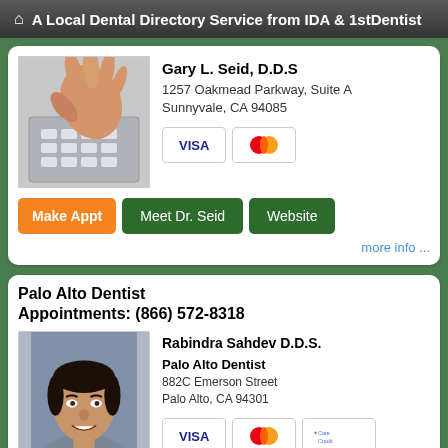A Local Dental Directory Service from IDA & 1stDentist
Gary L. Seid, D.D.S
1257 Oakmead Parkway, Suite A
Sunnyvale, CA 94085
[Figure (photo): Photo of a hand dialing a telephone keypad]
[Figure (logo): VISA and MasterCard payment icons]
Make Appt | Meet Dr. Seid | Website
more info ...
Palo Alto Dentist
Appointments: (866) 572-8318
Rabindra Sahdev D.D.S.
Palo Alto Dentist
882C Emerson Street
Palo Alto, CA 94301
[Figure (photo): Photo of Rabindra Sahdev D.D.S.]
[Figure (logo): VISA, MasterCard, and CareCredit payment icons]